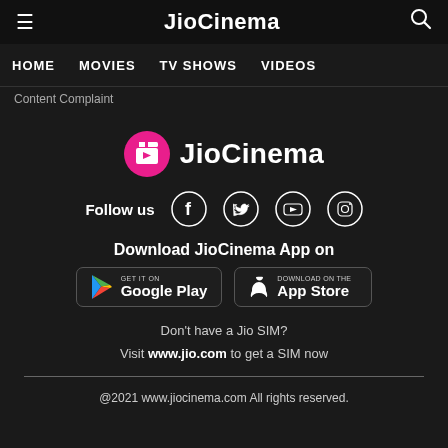JioCinema
HOME   MOVIES   TV SHOWS   VIDEOS
Content Complaint
[Figure (logo): JioCinema logo: pink circle with film clapperboard icon and play button, followed by text 'JioCinema' in white bold font]
Follow us
[Figure (infographic): Social media icons for Facebook, Twitter, YouTube, and Instagram in circular outlines]
Download JioCinema App on
[Figure (infographic): Google Play and App Store download buttons]
Don't have a Jio SIM?
Visit www.jio.com to get a SIM now
@2021 www.jiocinema.com All rights reserved.